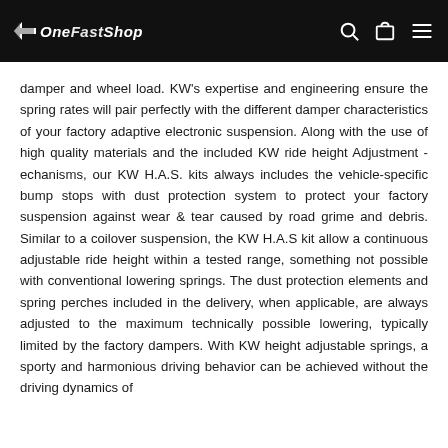OneFastShop
damper and wheel load. KW's expertise and engineering ensure the spring rates will pair perfectly with the different damper characteristics of your factory adaptive electronic suspension. Along with the use of high quality materials and the included KW ride height Adjustment -echanisms, our KW H.A.S. kits always includes the vehicle-specific bump stops with dust protection system to protect your factory suspension against wear & tear caused by road grime and debris. Similar to a coilover suspension, the KW H.A.S kit allow a continuous adjustable ride height within a tested range, something not possible with conventional lowering springs. The dust protection elements and spring perches included in the delivery, when applicable, are always adjusted to the maximum technically possible lowering, typically limited by the factory dampers. With KW height adjustable springs, a sporty and harmonious driving behavior can be achieved without the driving dynamics of